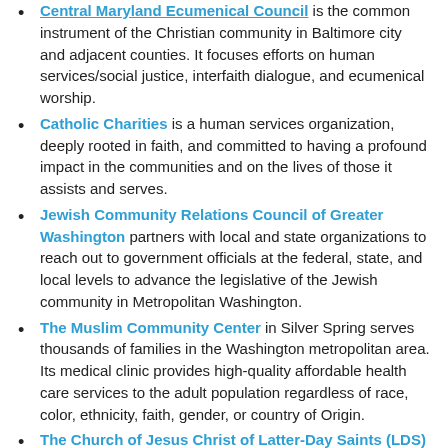Central Maryland Ecumenical Council is the common instrument of the Christian community in Baltimore city and adjacent counties. It focuses efforts on human services/social justice, interfaith dialogue, and ecumenical worship.
Catholic Charities is a human services organization, deeply rooted in faith, and committed to having a profound impact in the communities and on the lives of those it assists and serves.
Jewish Community Relations Council of Greater Washington partners with local and state organizations to reach out to government officials at the federal, state, and local levels to advance the legislative of the Jewish community in Metropolitan Washington.
The Muslim Community Center in Silver Spring serves thousands of families in the Washington metropolitan area. Its medical clinic provides high-quality affordable health care services to the adult population regardless of race, color, ethnicity, faith, gender, or country of Origin.
The Church of Jesus Christ of Latter-Day Saints (LDS) provides spiritual support to communities regardless of race, ethnicity, gender, or faith. It supports community with free services, such as food through local Bishops, job